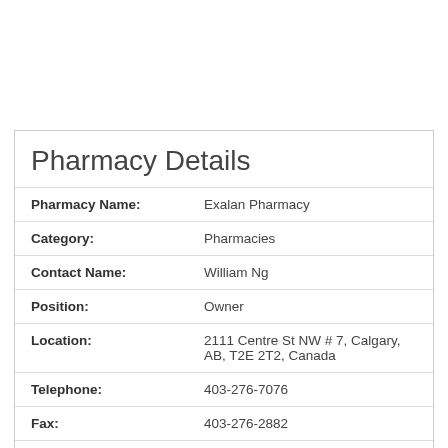Pharmacy Details
| Field | Value |
| --- | --- |
| Pharmacy Name: | Exalan Pharmacy |
| Category: | Pharmacies |
| Contact Name: | William Ng |
| Position: | Owner |
| Location: | 2111 Centre St NW # 7, Calgary, AB, T2E 2T2, Canada |
| Telephone: | 403-276-7076 |
| Fax: | 403-276-2882 |
| Approximate Revenue: | Less than $500,000 |
| Number of Employees: | 1 to 4 |